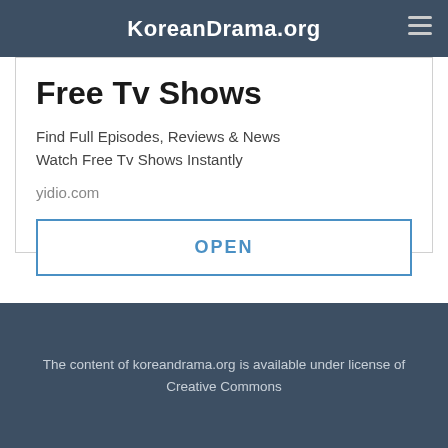KoreanDrama.org
Free Tv Shows
Find Full Episodes, Reviews & News
Watch Free Tv Shows Instantly
yidio.com
OPEN
Follow us on
[Figure (other): Facebook and Twitter social media icons]
The content of koreandrama.org is available under license of Creative Commons